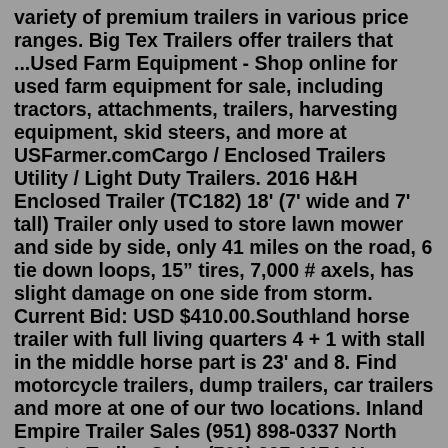variety of premium trailers in various price ranges. Big Tex Trailers offer trailers that ...Used Farm Equipment - Shop online for used farm equipment for sale, including tractors, attachments, trailers, harvesting equipment, skid steers, and more at USFarmer.comCargo / Enclosed Trailers Utility / Light Duty Trailers. 2016 H&H Enclosed Trailer (TC182) 18' (7' wide and 7' tall) Trailer only used to store lawn mower and side by side, only 41 miles on the road, 6 tie down loops, 15" tires, 7,000 # axels, has slight damage on one side from storm. Current Bid: USD $410.00.Southland horse trailer with full living quarters 4 + 1 with stall in the middle horse part is 23' and 8. Find motorcycle trailers, dump trailers, car trailers and more at one of our two locations. Inland Empire Trailer Sales (951) 898-0337 North County Trailer Sales (760) 297-1174. Horse Trailers & Livestock Trailers For Sale. (208) 543-5351.2017 Lakota 3 Horse 16' Living Quarter with Slide Out Dimensions: 30' L x 8' W x 7'6'' T Features: 9' Slide -